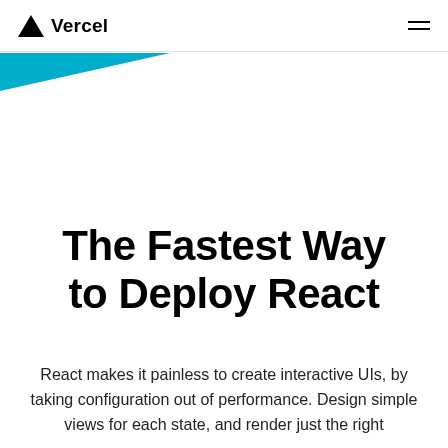Vercel
[Figure (illustration): Blue triangular decorative shape in the top-left corner below the header navigation bar]
The Fastest Way to Deploy React
React makes it painless to create interactive UIs, by taking configuration out of performance. Design simple views for each state, and render just the right